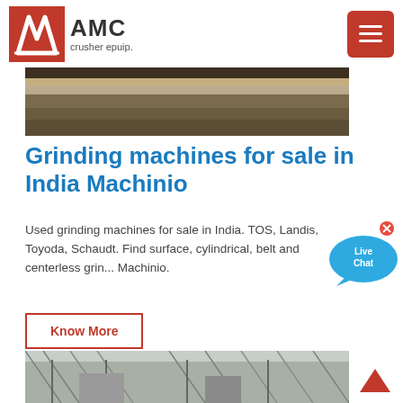AMC crusher epuip.
[Figure (photo): Aerial photograph of an open-cut mining or excavation site showing layered earth and rock.]
Grinding machines for sale in India Machinio
Used grinding machines for sale in India. TOS, Landis, Toyoda, Schaudt. Find surface, cylindrical, belt and centerless grin... Machinio.
[Figure (other): Live Chat speech bubble widget with close button]
Know More
[Figure (photo): Industrial machinery facility with steel framework, conveyor belts, and processing equipment inside a large warehouse structure.]